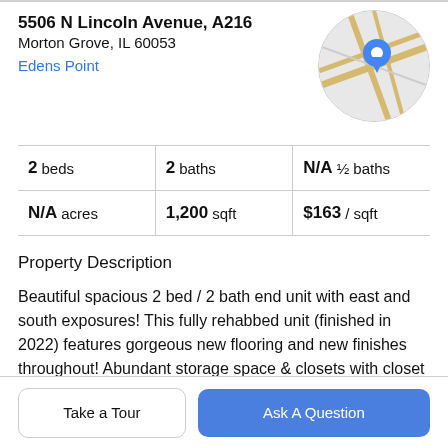5506 N Lincoln Avenue, A216
Morton Grove, IL 60053
Edens Point
[Figure (map): Circular map thumbnail showing street map with blue location pin marker]
|  |  |  |
| --- | --- | --- |
| 2 beds | 2 baths | N/A ½ baths |
| N/A acres | 1,200 sqft | $163 / sqft |
Property Description
Beautiful spacious 2 bed / 2 bath end unit with east and south exposures! This fully rehabbed unit (finished in 2022) features gorgeous new flooring and new finishes throughout! Abundant storage space & closets with closet organizers! Living room with sliders to a balcony spanning
Take a Tour
Ask A Question